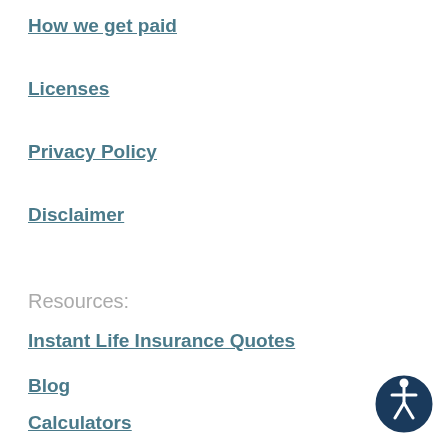How we get paid
Licenses
Privacy Policy
Disclaimer
Resources:
Instant Life Insurance Quotes
Blog
Calculators
Statistics
[Figure (illustration): Accessibility icon: circular button with white human figure (wheelchair accessibility symbol) on dark navy blue background, with white circular border, positioned bottom-right corner]